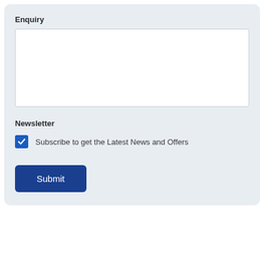Enquiry
[Figure (screenshot): A text area input box for entering an enquiry message, with a white background and resize handle.]
Newsletter
Subscribe to get the Latest News and Offers
Submit